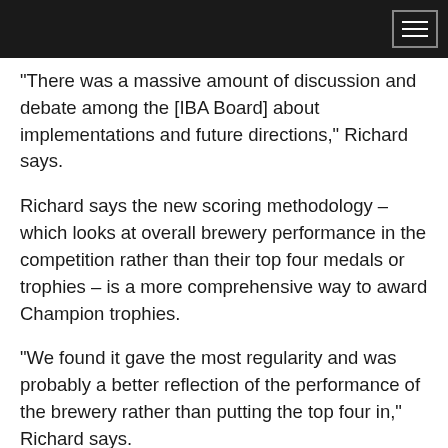“There was a massive amount of discussion and debate among the [IBA Board] about implementations and future directions,” Richard says.
Richard says the new scoring methodology – which looks at overall brewery performance in the competition rather than their top four medals or trophies – is a more comprehensive way to award Champion trophies.
“We found it gave the most regularity and was probably a better reflection of the performance of the brewery rather than putting the top four in,” Richard says.
“When we looked at the different outcomes, this was a much better reflection of the performance of a